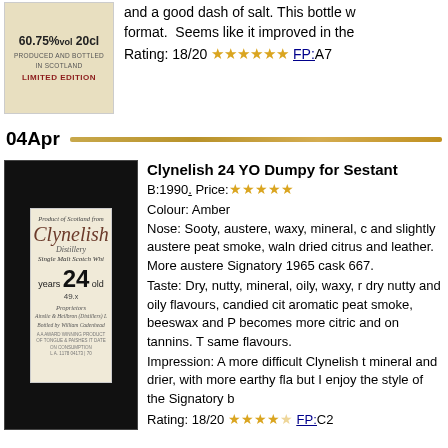[Figure (photo): Bottle label showing 60.75%vol 20cl, Produced and Bottled in Scotland, Limited Edition]
and a good dash of salt. This bottle was in format. Seems like it improved in the
Rating: 18/20 ★★★★★★ FP:A7
04Apr
[Figure (photo): Clynelish Distillery 24 years old Single Malt Scotch Whisky bottle label, 49.x%, dark/black capsule]
Clynelish 24 YO Dumpy for Sestant
B:1990. Price:★★★★★
Colour: Amber
Nose: Sooty, austere, waxy, mineral, c and slightly austere peat smoke, waln dried citrus and leather. More austere Signatory 1965 cask 667.
Taste: Dry, nutty, mineral, oily, waxy, r dry nutty and oily flavours, candied cit aromatic peat smoke, beeswax and P becomes more citric and on tannins. T same flavours.
Impression: A more difficult Clynelish t mineral and drier, with more earthy fla but I enjoy the style of the Signatory b
Rating: 18/20 ★★★★☆ FP:C2